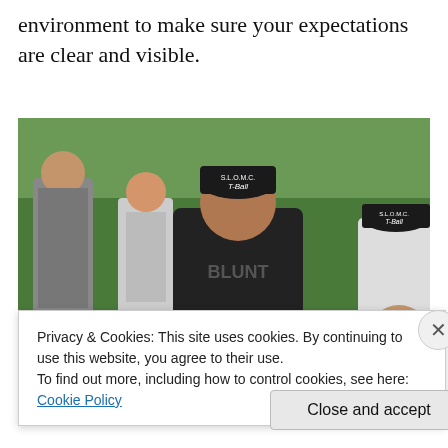environment to make sure your expectations are clear and visible.
[Figure (photo): Group of children in black caps (labeled 'T-Ball') huddled together outdoors on a grassy field. One child in the center wears a black long-sleeve shirt with a logo.]
Privacy & Cookies: This site uses cookies. By continuing to use this website, you agree to their use.
To find out more, including how to control cookies, see here: Cookie Policy